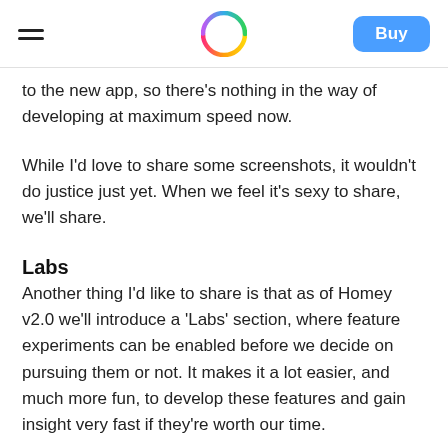[hamburger menu] [Homey logo] [Buy button]
to the new app, so there's nothing in the way of developing at maximum speed now.
While I'd love to share some screenshots, it wouldn't do justice just yet. When we feel it's sexy to share, we'll share.
Labs
Another thing I'd like to share is that as of Homey v2.0 we'll introduce a 'Labs' section, where feature experiments can be enabled before we decide on pursuing them or not. It makes it a lot easier, and much more fun, to develop these features and gain insight very fast if they're worth our time.